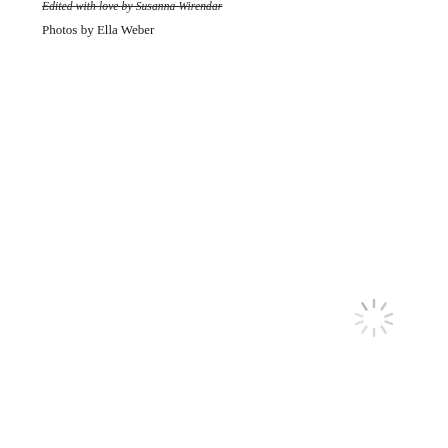Edited with love by Susanna Wirendar
Photos by Ella Weber
[Figure (other): A loading spinner graphic in light gray, located in the lower right area of the page]